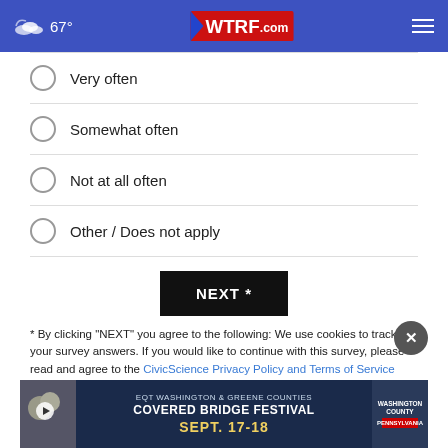67° WTRF.com
Very often
Somewhat often
Not at all often
Other / Does not apply
NEXT *
* By clicking "NEXT" you agree to the following: We use cookies to track your survey answers. If you would like to continue with this survey, please read and agree to the CivicScience Privacy Policy and Terms of Service
TOP STORIES ›
[Figure (screenshot): Advertisement banner for EQT Washington & Greene Counties Covered Bridge Festival Sept. 17-18 with Washington County Pennsylvania branding]